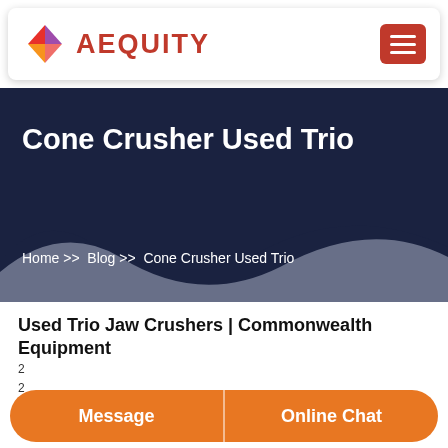AEQUITY
Cone Crusher Used Trio
Home >> Blog >> Cone Crusher Used Trio
Used Trio Jaw Crushers | Commonwealth Equipment
Message
Online Chat